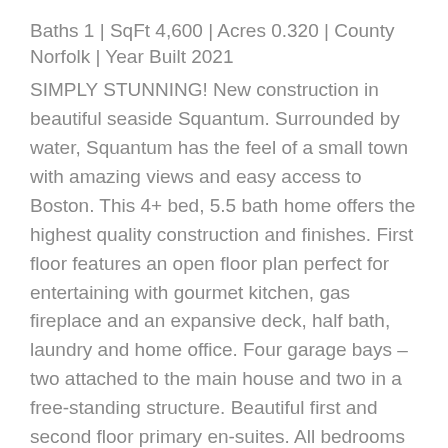Baths 1 | SqFt 4,600 | Acres 0.320 | County Norfolk | Year Built 2021
SIMPLY STUNNING! New construction in beautiful seaside Squantum. Surrounded by water, Squantum has the feel of a small town with amazing views and easy access to Boston. This 4+ bed, 5.5 bath home offers the highest quality construction and finishes. First floor features an open floor plan perfect for entertaining with gourmet kitchen, gas fireplace and an expansive deck, half bath, laundry and home office. Four garage bays – two attached to the main house and two in a free-standing structure. Beautiful first and second floor primary en-suites. All bedrooms have their own luxurious bath. A separate “bonus room” with full bath and separate staircase that could be used as an au-pair suite, grandparents